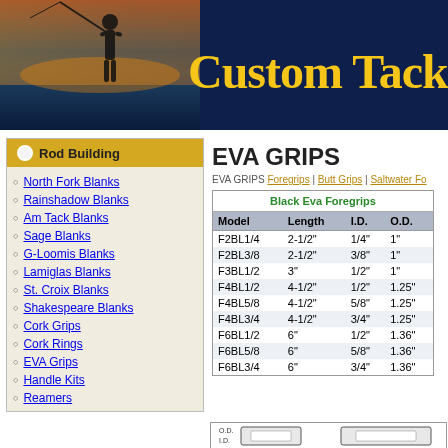[Figure (photo): CustomTackle.com website header banner with silhouette of fisherman at sunset and yellow site title text]
Rod Building
North Fork Blanks
Rainshadow Blanks
Am Tack Blanks
Sage Blanks
G-Loomis Blanks
Lamiglas Blanks
St. Croix Blanks
Shakespeare Blanks
Cork Grips
Cork Rings
EVA Grips
Handle Kits
Reamers
EVA GRIPS
EVA GRIPS Foregrips | Butt Grips | Saltwater Fo...
| Model | Length | I.D. | O.D. |
| --- | --- | --- | --- |
| F2BL1/4 | 2-1/2" | 1/4" | 1" |
| F2BL3/8 | 2-1/2" | 3/8" | 1" |
| F3BL1/2 | 3" | 1/2" | 1" |
| F4BL1/2 | 4-1/2" | 1/2" | 1.25" |
| F4BL5/8 | 4-1/2" | 5/8" | 1.25" |
| F4BL3/4 | 4-1/2" | 3/4" | 1.25" |
| F6BL1/2 | 6" | 1/2" | 1.36" |
| F6BL5/8 | 6" | 5/8" | 1.36" |
| F6BL3/4 | 6" | 3/4" | 1.36" |
[Figure (engineering-diagram): Diagram showing O.D. and I.D. measurements of EVA grip cross-section]